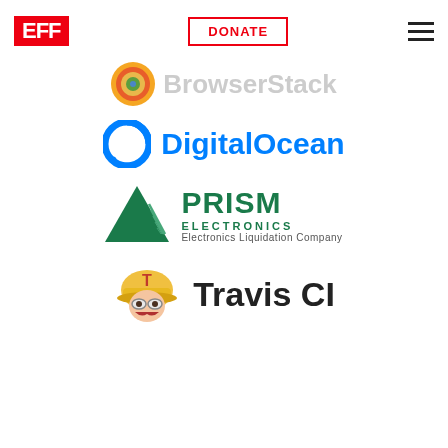[Figure (logo): EFF (Electronic Frontier Foundation) red logo text]
[Figure (logo): DONATE button with red border]
[Figure (logo): Hamburger menu icon]
[Figure (logo): BrowserStack logo with colorful circular icon and gray text]
[Figure (logo): DigitalOcean logo with blue circular arrow icon and blue text]
[Figure (logo): Prism Electronics logo with green triangle and green/gray text]
[Figure (logo): Travis CI logo with cartoon mascot and black text]